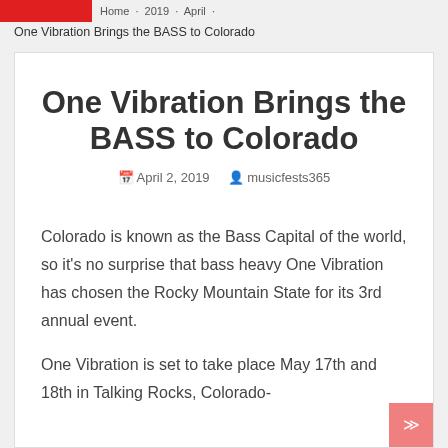Home · 2019 · April · One Vibration Brings the BASS to Colorado
One Vibration Brings the BASS to Colorado
April 2, 2019  musicfests365
Colorado is known as the Bass Capital of the world, so it's no surprise that bass heavy One Vibration has chosen the Rocky Mountain State for its 3rd annual event.
One Vibration is set to take place May 17th and 18th in Talking Rocks, Colorado-